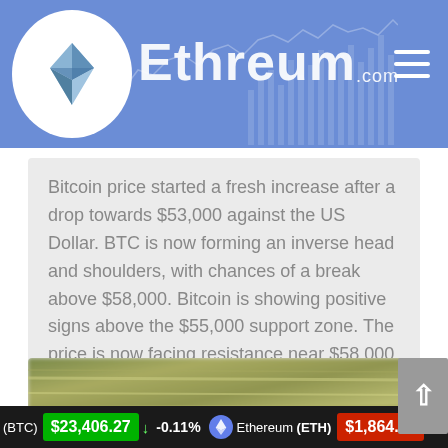Ethreum.com
Bitcoin price started a fresh increase after a drop towards $53,000 against the US Dollar. BTC is now forming an inverse head and shoulders, with chances of a break above $58,000. Bitcoin is showing positive signs above the $55,000 support zone. The price is now facing resistance near $58,000 and the 100 hourly simple moving…
Details ▶
[Figure (photo): Blurred outdoor photo with green and tan tones, motion blur effect]
(BTC) $23,406.27 ↓ -0.11%   Ethereum (ETH) $1,864.80 ↑